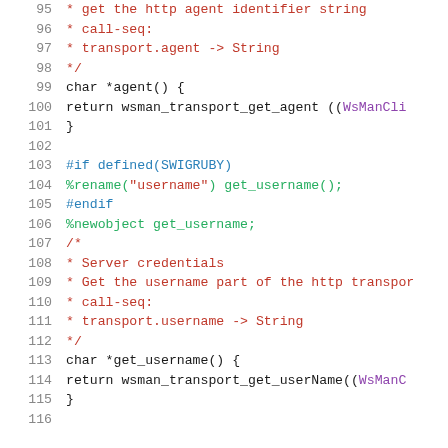[Figure (screenshot): Source code listing (C/SWIG) with line numbers 95-116, showing agent() and get_username() methods with preprocessor directives and SWIG annotations]